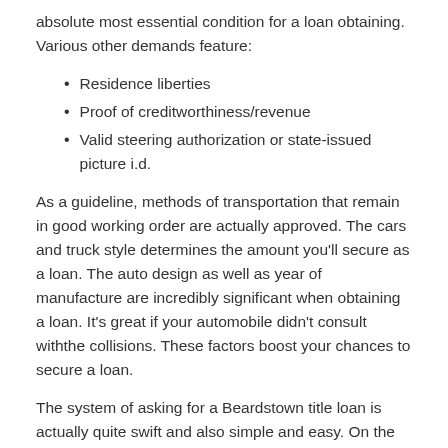absolute most essential condition for a loan obtaining. Various other demands feature:
Residence liberties
Proof of creditworthiness/revenue
Valid steering authorization or state-issued picture i.d.
As a guideline, methods of transportation that remain in good working order are actually approved. The cars and truck style determines the amount you'll secure as a loan. The auto design as well as year of manufacture are incredibly significant when obtaining a loan. It's great if your automobile didn't consult withthe collisions. These factors boost your chances to secure a loan.
The system of asking for a Beardstown title loan is actually quite swift and also simple and easy. On the web headline lendings are considered to be the absolute most convenient technique. No store check out and also no telephone call are actually required when you are requesting for label lendings online. After your papers have been assessed and also your loan has been actually confirmed, the SpeedyLoan specialists detail the disorders as well as tariffs of your automobile ez money loan. When all phrases are set out as well as the title loan negotiation is authorized, the technique of money